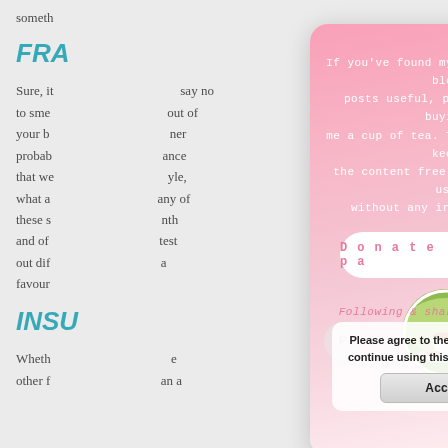someth
FRA
Sure, it say no to sme out of your b ner probab ance that we yle, what a any of these s nth and of test out dif a favour
INSU
Wheth e other f an a
[Figure (screenshot): A modal popup overlay on a blog page with pink gradient background. Contains text asking users to donate by buying a cup of tea, a 'Donate a cuppa' button, a circular image of a tea cup, italic text 'Following & sharing helps too!', and a cookie consent box with an Accept button. A white X close button is in the top right corner of the modal.]